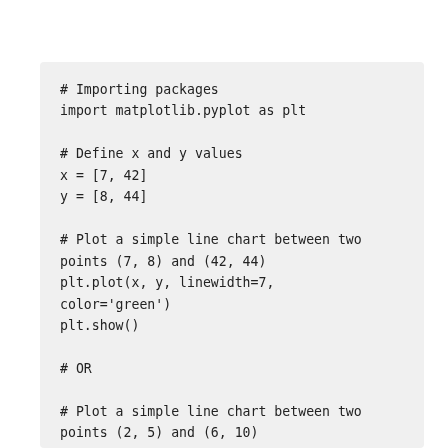# Importing packages
import matplotlib.pyplot as plt

# Define x and y values
x = [7, 42]
y = [8, 44]

# Plot a simple line chart between two
points (7, 8) and (42, 44)
plt.plot(x, y, linewidth=7,
color='green')
plt.show()

# OR

# Plot a simple line chart between two
points (2, 5) and (6, 10)
plt.plot([2, 6], [5, 10], 'r',
linewidth=5)
plt.show()